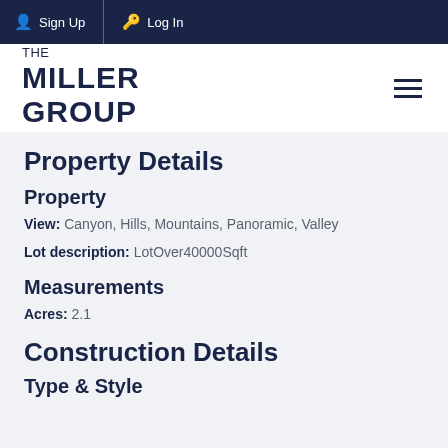Sign Up  Log In
THE MILLER GROUP
Property Details
Property
View: Canyon, Hills, Mountains, Panoramic, Valley
Lot description: LotOver40000Sqft
Measurements
Acres: 2.1
Construction Details
Type & Style